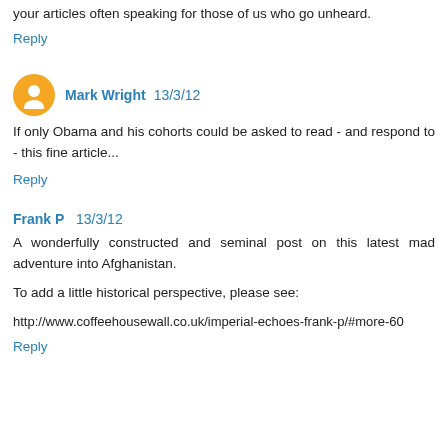your articles often speaking for those of us who go unheard.
Reply
Mark Wright 13/3/12
If only Obama and his cohorts could be asked to read - and respond to - this fine article...
Reply
Frank P 13/3/12
A wonderfully constructed and seminal post on this latest mad adventure into Afghanistan.
To add a little historical perspective, please see:
http://www.coffeehousewall.co.uk/imperial-echoes-frank-p/#more-60
Reply